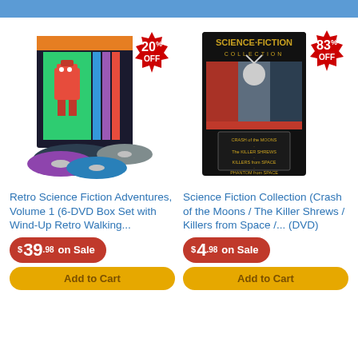[Figure (photo): Retro Science Fiction Adventures DVD box set with wind-up robot toy and multiple DVDs, with 20% OFF badge]
[Figure (photo): Science Fiction Collection DVD set with black cover, with 83% OFF badge]
Retro Science Fiction Adventures, Volume 1 (6-DVD Box Set with Wind-Up Retro Walking...
Science Fiction Collection (Crash of the Moons / The Killer Shrews / Killers from Space /... (DVD)
$39.98 on Sale
$4.98 on Sale
Add to Cart
Add to Cart